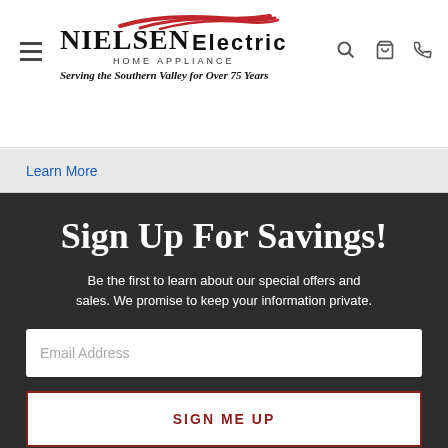Nielsen Electric Home Appliance — Serving the Southern Valley for Over 75 Years
Learn More
Sign Up For Savings!
Be the first to learn about our special offers and sales. We promise to keep your information private.
Email Address
SIGN ME UP